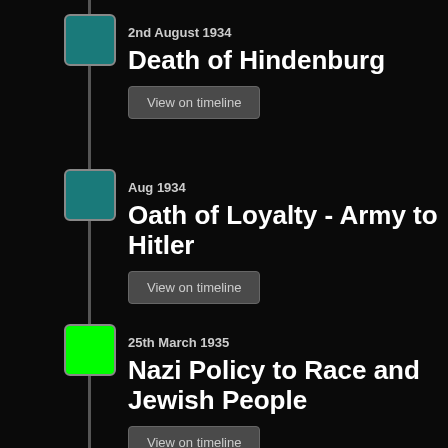2nd August 1934
Death of Hindenburg
View on timeline
Aug 1934
Oath of Loyalty - Army to Hitler
View on timeline
25th March 1935
Nazi Policy to Race and Jewish People
View on timeline